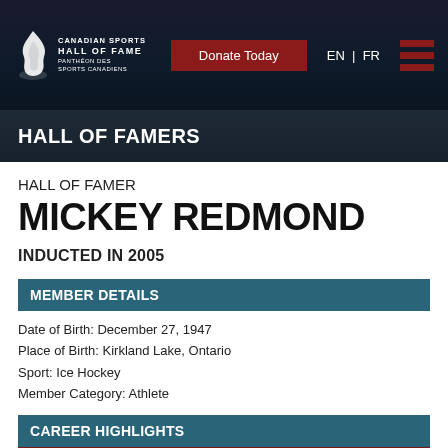Canadian Sports Hall of Fame | HALL OF FAME | PANTHEON des Sports Canadiens | Donate Today | EN | FR
HALL OF FAMERS
HALL OF FAMER
MICKEY REDMOND
INDUCTED IN 2005
MEMBER DETAILS
Date of Birth: December 27, 1947
Place of Birth: Kirkland Lake, Ontario
Sport: Ice Hockey
Member Category: Athlete
CAREER HIGHLIGHTS
1972
Team Canada